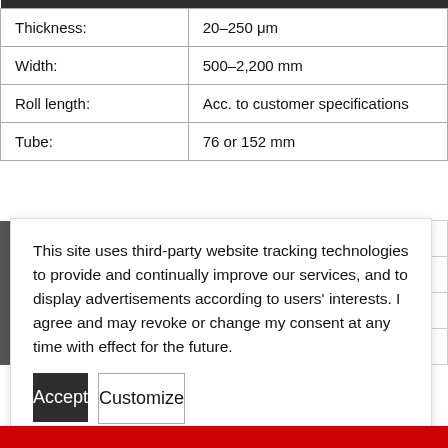| Thickness: | 20–250 μm |
| Width: | 500–2,200 mm |
| Roll length: | Acc. to customer specifications |
| Tube: | 76 or 152 mm |
This site uses third-party website tracking technologies to provide and continually improve our services, and to display advertisements according to users' interests. I agree and may revoke or change my consent at any time with effect for the future.
Accept
Customize
Imprint | Privacy Policy